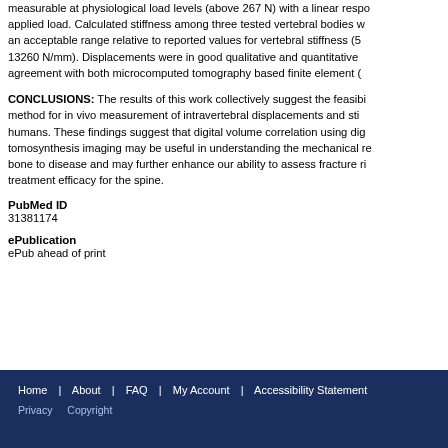measurable at physiological load levels (above 267 N) with a linear response to applied load. Calculated stiffness among three tested vertebral bodies was within an acceptable range relative to reported values for vertebral stiffness (5–13260 N/mm). Displacements were in good qualitative and quantitative agreement with both microcomputed tomography based finite element (
CONCLUSIONS: The results of this work collectively suggest the feasibility of a method for in vivo measurement of intravertebral displacements and stiffness in humans. These findings suggest that digital volume correlation using digital tomosynthesis imaging may be useful in understanding the mechanical response of bone to disease and may further enhance our ability to assess fracture risk and treatment efficacy for the spine.
PubMed ID
31381174
ePublication
ePub ahead of print
Home | About | FAQ | My Account | Accessibility Statement Privacy Copyright